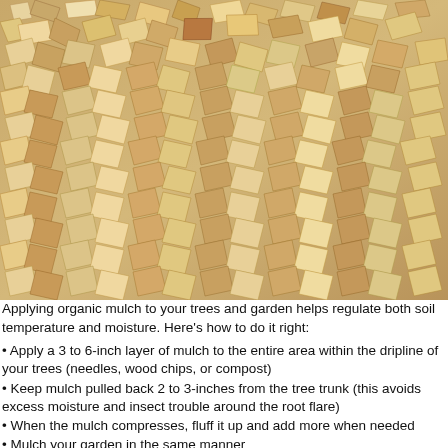[Figure (photo): Close-up photo of wood chip mulch — a pile of irregularly shaped tan, cream, and reddish-brown wood chips and shredded wood fragments scattered densely across the frame.]
Applying organic mulch to your trees and garden helps regulate both soil temperature and moisture. Here's how to do it right:
• Apply a 3 to 6-inch layer of mulch to the entire area within the dripline of your trees (needles, wood chips, or compost)
• Keep mulch pulled back 2 to 3-inches from the tree trunk (this avoids excess moisture and insect trouble around the root flare)
• When the mulch compresses, fluff it up and add more when needed
• Mulch your garden in the same manner
Mulch also serves as an "off-limits" zone to keep lawnmowers, wheelbarrows, and